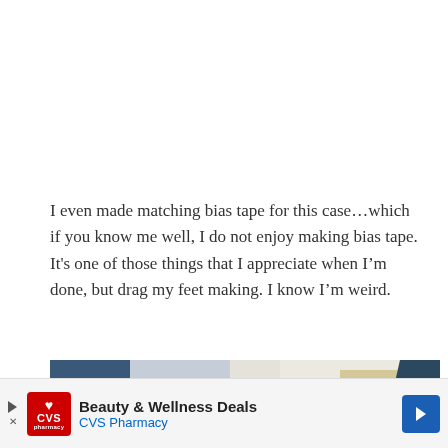I even made matching bias tape for this case…which if you know me well, I do not enjoy making bias tape. It's one of those things that I appreciate when I'm done, but drag my feet making. I know I'm weird.
[Figure (photo): Close-up photo of fabric pieces including blue denim and a cream/white fabric with yellow/gold stripe detail, showing bias tape and sewing project components.]
[Figure (other): CVS Pharmacy advertisement banner showing 'Beauty & Wellness Deals' with CVS Pharmacy logo and navigation arrow.]